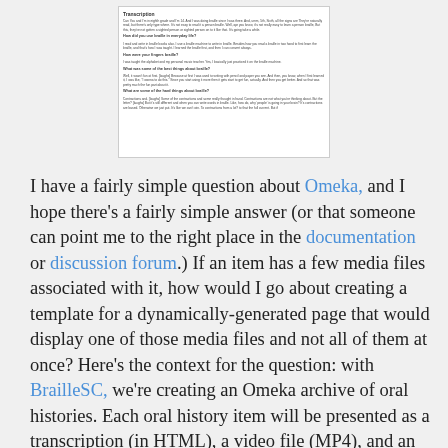[Figure (screenshot): Screenshot of a document page showing a transcription with sections titled 'Transcription', questions and answers about braille, including 'How did you use braille in everyday life?', 'How were your fingers braille?', 'What was some of the best things about braille?', 'What are some of the hard things about braille?']
I have a fairly simple question about Omeka, and I hope there's a fairly simple answer (or that someone can point me to the right place in the documentation or discussion forum.) If an item has a few media files associated with it, how would I go about creating a template for a dynamically-generated page that would display one of those media files and not all of them at once? Here's the context for the question: with BrailleSC, we're creating an Omeka archive of oral histories. Each oral history item will be presented as a transcription (in HTML), a video file (MP4), and an audio file (MP3). As I understand it, the default page for an Omeka item automatically displays all of the files associated with that particular item, and in the case of a 30-minute video what that means is the user must wait for a pretty large video file to load, even if all